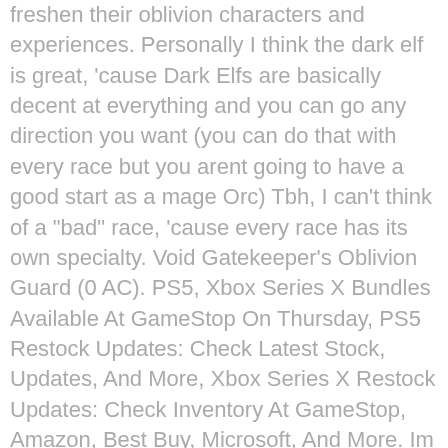freshen their oblivion characters and experiences. Personally I think the dark elf is great, 'cause Dark Elfs are basically decent at everything and you can go any direction you want (you can do that with every race but you arent going to have a good start as a mage Orc) Tbh, I can't think of a "bad" race, 'cause every race has its own specialty. Void Gatekeeper's Oblivion Guard (0 AC). PS5, Xbox Series X Bundles Available At GameStop On Thursday, PS5 Restock Updates: Check Latest Stock, Updates, And More, Xbox Series X Restock Updates: Check Inventory At GameStop, Amazon, Best Buy, Microsoft, And More. Im new to the elderscrolls and rpgs in general so I just went with an Imperial as my Class and my Role thingy was Knight and I think the stars I was born under were Barbarian, but my character just sucks so I made my diffulty very easy but now im not enjoying the game. The default classes are not balanced well. Overall probably the most powerful attack based in the game. You can be master of anything. Your quiz results. 1. Usually the "Scout" class, created about 4 or 5